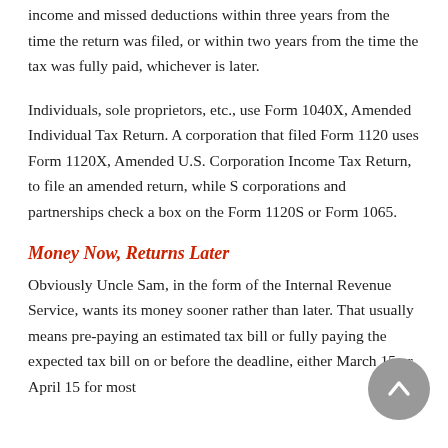income and missed deductions within three years from the time the return was filed, or within two years from the time the tax was fully paid, whichever is later.
Individuals, sole proprietors, etc., use Form 1040X, Amended Individual Tax Return. A corporation that filed Form 1120 uses Form 1120X, Amended U.S. Corporation Income Tax Return, to file an amended return, while S corporations and partnerships check a box on the Form 1120S or Form 1065.
Money Now, Returns Later
Obviously Uncle Sam, in the form of the Internal Revenue Service, wants its money sooner rather than later. That usually means pre-paying an estimated tax bill or fully paying the expected tax bill on or before the deadline, either March 15 or April 15 for most